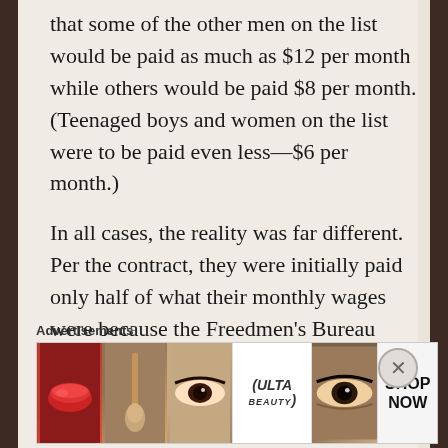that some of the other men on the list would be paid as much as $12 per month while others would be paid $8 per month. (Teenaged boys and women on the list were to be paid even less—$6 per month.)
In all cases, the reality was far different. Per the contract, they were initially paid only half of what their monthly wages were because the Freedmen's Bureau agent in charge of looking out for the welfare of these formerly enslaved men, women, and children allowed the white farmer—their “employer”—to “retain one half their monthly wages until the expiration of their term of service.”
Advertisements
[Figure (photo): Advertisement banner for Ulta Beauty showing close-up images of makeup looks (lips, brush, eyes) alongside the Ulta logo and 'SHOP NOW' call to action.]